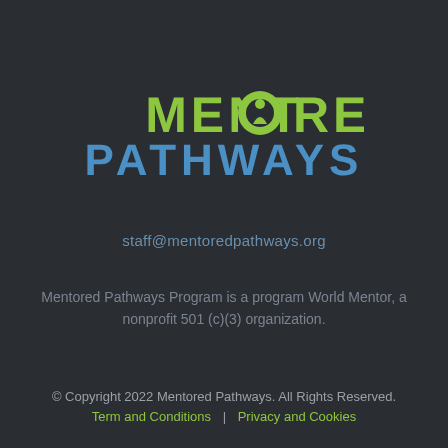[Figure (logo): Mentored Pathways logo: 'MENTORED' in lime green bold uppercase with a stylized person/flame icon replacing the O, 'PATHWAYS' in blue bold uppercase below]
staff@mentoredpathways.org
Mentored Pathways Program is a program World Mentor, a nonprofit 501 (c)(3) organization.
© Copyright 2022 Mentored Pathways. All Rights Reserved.
Term and Conditions   |   Privacy and Cookies